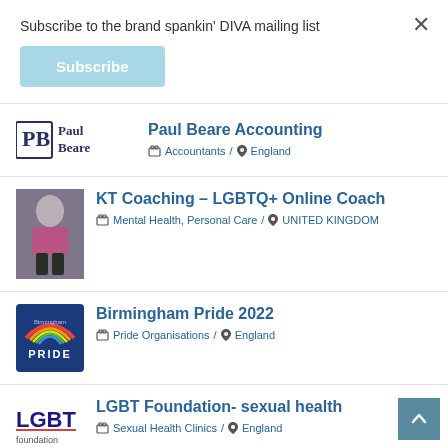Subscribe to the brand spankin' DIVA mailing list
Subscribe
Paul Beare Accounting — Accountants / England
KT Coaching – LGBTQ+ Online Coach — Mental Health, Personal Care / UNITED KINGDOM
Birmingham Pride 2022 — Pride Organisations / England
LGBT Foundation- sexual health — Sexual Health Clinics / England